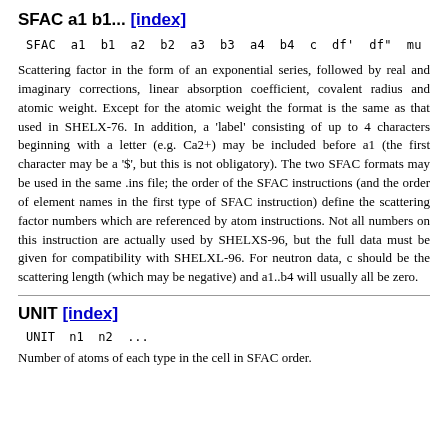SFAC a1 b1... [index]
SFAC  a1  b1  a2  b2  a3  b3  a4  b4  c  df'  df"  mu
Scattering factor in the form of an exponential series, followed by real and imaginary corrections, linear absorption coefficient, covalent radius and atomic weight. Except for the atomic weight the format is the same as that used in SHELX-76. In addition, a 'label' consisting of up to 4 characters beginning with a letter (e.g. Ca2+) may be included before a1 (the first character may be a '$', but this is not obligatory). The two SFAC formats may be used in the same .ins file; the order of the SFAC instructions (and the order of element names in the first type of SFAC instruction) define the scattering factor numbers which are referenced by atom instructions. Not all numbers on this instruction are actually used by SHELXS-96, but the full data must be given for compatibility with SHELXL-96. For neutron data, c should be the scattering length (which may be negative) and a1..b4 will usually all be zero.
UNIT [index]
UNIT  n1  n2  ...
Number of atoms of each type in the cell in SFAC order.